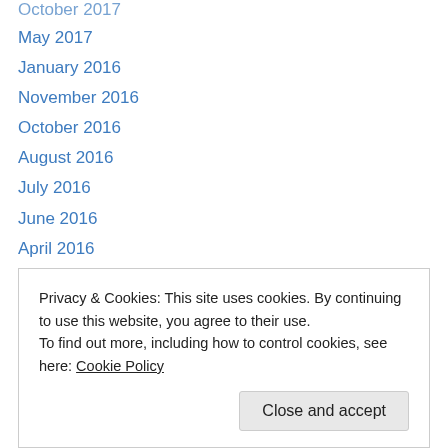May 2017
January 2016
November 2016
October 2016
August 2016
July 2016
June 2016
April 2016
March 2016
February 2016
January 2016
December 2015
November 2015
Privacy & Cookies: This site uses cookies. By continuing to use this website, you agree to their use. To find out more, including how to control cookies, see here: Cookie Policy
Close and accept